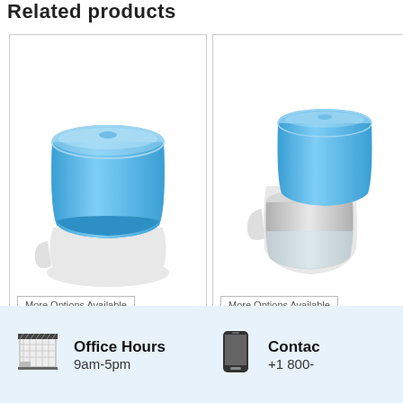Related products
[Figure (photo): A blue transparent cup/dispenser cup on a white plastic holder base - product photo]
More Options Available
[Figure (photo): Two water dispenser cups (one blue, one clear/grey) on a white plastic clip/holder - product photo]
More Options Available
Office Hours
9am-5pm
Contac
+1 800-